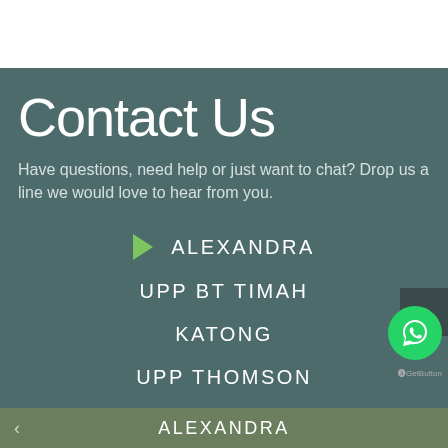Contact Us
Have questions, need help or just want to chat? Drop us a line we would love to hear from you.
ALEXANDRA
UPP BT TIMAH
KATONG
UPP THOMSON
ALEXANDRA